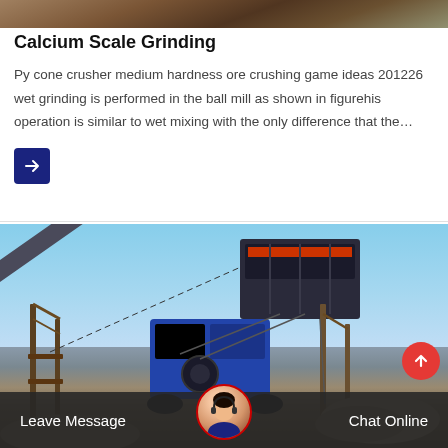[Figure (photo): Top portion of industrial machinery or mining equipment photo, partially cropped]
Calcium Scale Grinding
Py cone crusher medium hardness ore crushing game ideas 201226 wet grinding is performed in the ball mill as shown in figurehis operation is similar to wet mixing with the only difference that the…
[Figure (photo): Large industrial mobile crushing/screening machine photographed outdoors against a blue sky, with conveyor belts and metal framework visible]
Leave Message   Chat Online